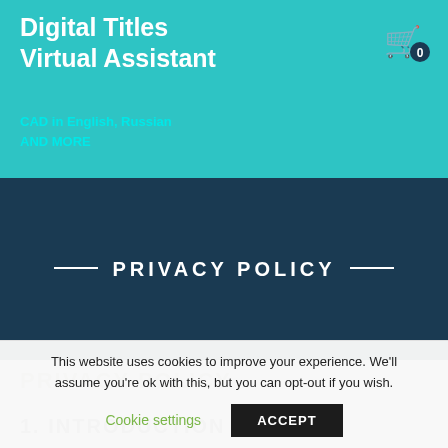Digital Titles Virtual Assistant
CAD in English, Russian
AND MORE
PRIVACY POLICY
PRIVACY POLICY
1. INTRODUCTION
This website uses cookies to improve your experience. We'll assume you're ok with this, but you can opt-out if you wish.
Cookie settings    ACCEPT